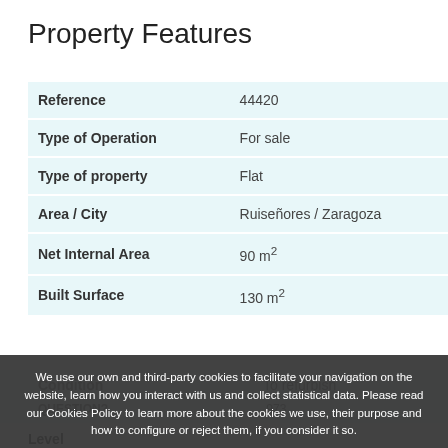Property Features
|  |  |
| --- | --- |
| Reference | 44420 |
| Type of Operation | For sale |
| Type of property | Flat |
| Area / City | Ruiseñores / Zaragoza |
| Net Internal Area | 90 m² |
| Built Surface | 130 m² |
| Condition | To refurbish |
We use our own and third-party cookies to facilitate your navigation on the website, learn how you interact with us and collect statistical data. Please read our Cookies Policy to learn more about the cookies we use, their purpose and how to configure or reject them, if you consider it so.
Accept all   Manage Cookies   Reject
QUESTION?
Level